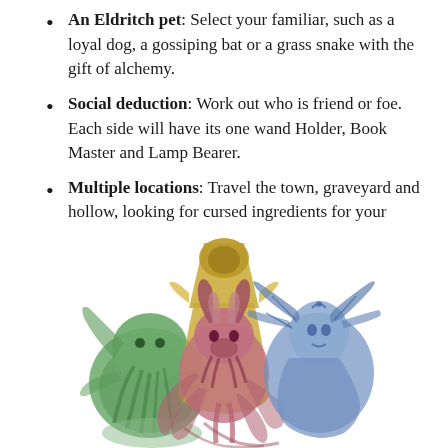An Eldritch pet: Select your familiar, such as a loyal dog, a gossiping bat or a grass snake with the gift of alchemy.
Social deduction: Work out who is friend or foe. Each side will have its one wand Holder, Book Master and Lamp Bearer.
Multiple locations: Travel the town, graveyard and hollow, looking for cursed ingredients for your brews and rituals.
[Figure (illustration): An illustration of three eldritch/fantasy creatures: a green Cthulhu-like tentacled being on the left, a golden robed hooded figure at the top center, a pink/red goat-headed creature with tentacles in the center, and a blue ethereal female figure with wing-like hair on the right.]